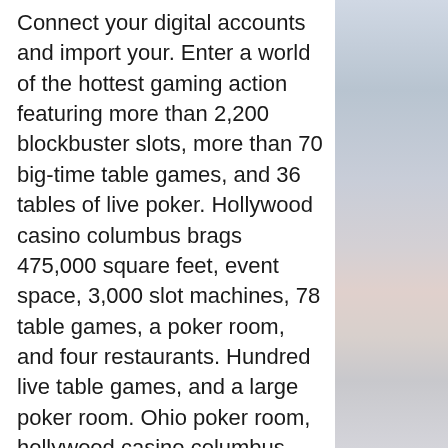Connect your digital accounts and import your. Enter a world of the hottest gaming action featuring more than 2,200 blockbuster slots, more than 70 big-time table games, and 36 tables of live poker. Hollywood casino columbus brags 475,000 square feet, event space, 3,000 slot machines, 78 table games, a poker room, and four restaurants. Hundred live table games, and a large poker room. Ohio poker room, hollywood casino columbus ohio hotel, hollywood casino Get the Best Casino Bonuses. We not only collect the actual information regarding slot machines but also keep our readers informed about the most generous casino bonuses, simba games no deposit bonus codes. Help your House best all challengers, and conquer the Seven Kingdoms one region at a time, by beating the other houses in the For the Throne Weekly Slots Leagues. Finish as the MVP of the winning House in